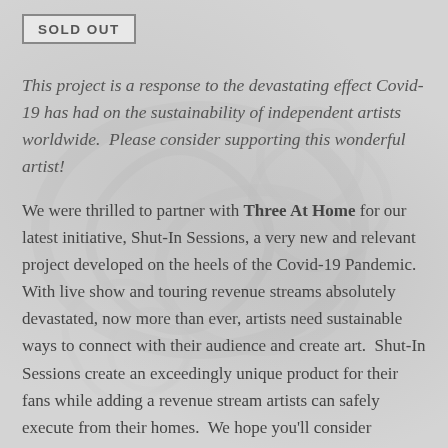[Figure (other): SOLD OUT badge/box in upper left corner]
This project is a response to the devastating effect Covid-19 has had on the sustainability of independent artists worldwide.  Please consider supporting this wonderful artist!
We were thrilled to partner with Three At Home for our latest initiative, Shut-In Sessions, a very new and relevant project developed on the heels of the Covid-19 Pandemic.  With live show and touring revenue streams absolutely devastated, now more than ever, artists need sustainable ways to connect with their audience and create art.  Shut-In Sessions create an exceedingly unique product for their fans while adding a revenue stream artists can safely execute from their homes.  We hope you'll consider supporting this artist.  They need you now more than ever.